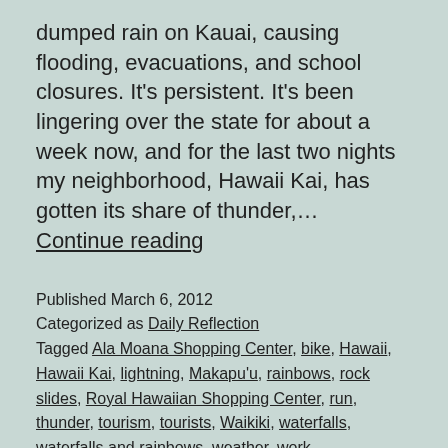dumped rain on Kauai, causing flooding, evacuations, and school closures. It's persistent. It's been lingering over the state for about a week now, and for the last two nights my neighborhood, Hawaii Kai, has gotten its share of thunder,… Continue reading
Published March 6, 2012
Categorized as Daily Reflection
Tagged Ala Moana Shopping Center, bike, Hawaii, Hawaii Kai, lightning, Makapu'u, rainbows, rock slides, Royal Hawaiian Shopping Center, run, thunder, tourism, tourists, Waikiki, waterfalls, waterfalls and rainbows, weather, work